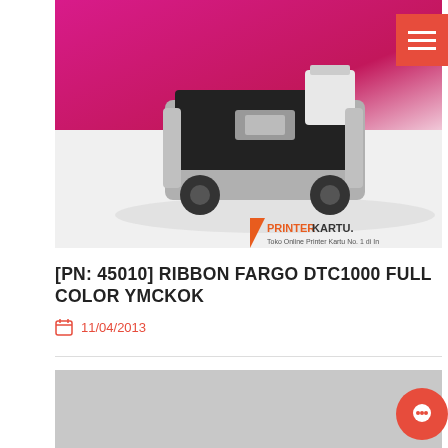[Figure (photo): Product photo of Fargo DTC1000 ribbon cartridge on pink/white background with PrinterKartu.com watermark and menu button overlay]
[PN: 45010] RIBBON FARGO DTC1000 FULL COLOR YMCKOK
11/04/2013
[Figure (photo): Second product image area shown as light gray placeholder]